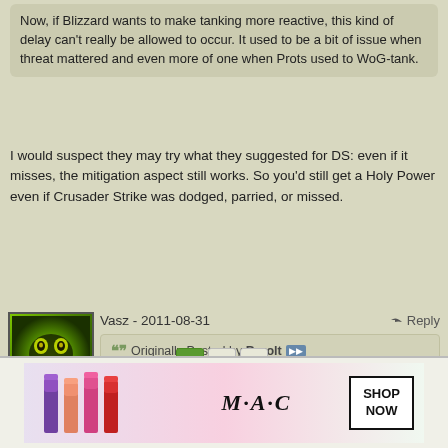Now, if Blizzard wants to make tanking more reactive, this kind of delay can't really be allowed to occur. It used to be a bit of issue when threat mattered and even more of one when Prots used to WoG-tank.
I would suspect they may try what they suggested for DS: even if it misses, the mitigation aspect still works. So you'd still get a Holy Power even if Crusader Strike was dodged, parried, or missed.
Vasz - 2011-08-31
Originally Posted by Barolt
So, if DKs stop getting RNG fucked by having a DS not land, can Ferals stop getting RNG fucked by Savage defense only being a 50% proc on crit?
Right now bears are the best tanks end game.
Page 1 of 9
[Figure (screenshot): Ad banner for MAC cosmetics showing lipsticks with SHOP NOW box]